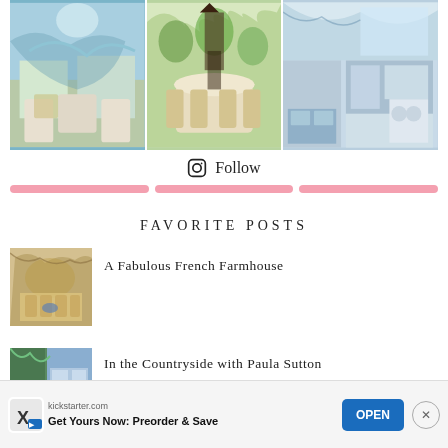[Figure (photo): Three-panel Instagram photo grid showing colorful interior design rooms: left panel with blue botanical wallpaper living room, center panel with green leaf wallpaper dining room, right panel with blue and white kitchen.]
⊙ Follow
[Figure (infographic): Three pink horizontal divider bars]
FAVORITE POSTS
[Figure (photo): Thumbnail of A Fabulous French Farmhouse — French dining room with rattan chairs and floral wallpaper]
A Fabulous French Farmhouse
[Figure (photo): Thumbnail of In the Countryside with Paula Sutton post]
In the Countryside with Paula Sutton
[Figure (infographic): Advertisement banner: kickstarter.com — Get Yours Now: Preorder & Save — OPEN button — close X button]